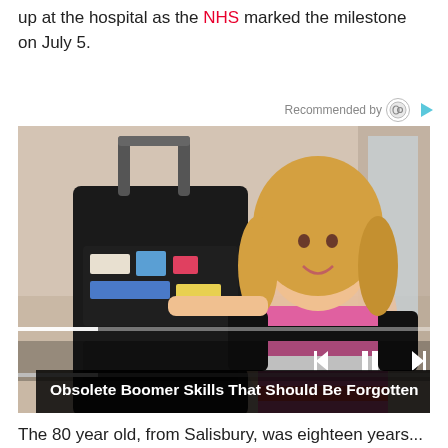up at the hospital as the NHS marked the milestone on July 5.
Recommended by
[Figure (screenshot): Video thumbnail showing a blonde woman in a pink and black striped top posing with an open suitcase/luggage organizer. Video player controls visible at bottom. Title overlay reads 'Obsolete Boomer Skills That Should Be Forgotten']
The 80 year old, from Salisbury, was eighteen years...